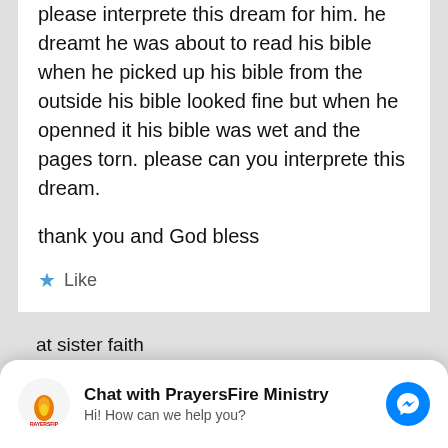please interprete this dream for him. he dreamt he was about to read his bible when he picked up his bible from the outside his bible looked fine but when he openned it his bible was wet and the pages torn. please can you interprete this dream.
thank you and God bless
Like
[Figure (screenshot): Default user avatar - grey square with white circle]
[Figure (infographic): PrayersFire Ministry chat widget with logo, title 'Chat with PrayersFire Ministry', subtitle 'Hi! How can we help you?', and Facebook Messenger icon button]
at sister faith